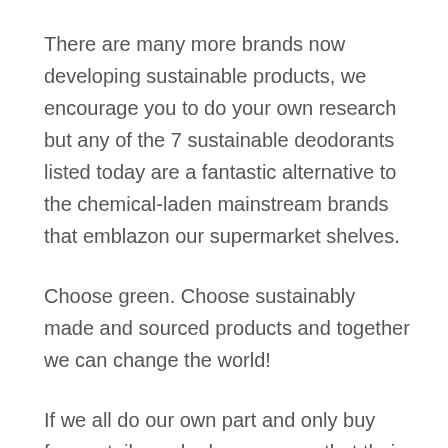There are many more brands now developing sustainable products, we encourage you to do your own research but any of the 7 sustainable deodorants listed today are a fantastic alternative to the chemical-laden mainstream brands that emblazon our supermarket shelves.
Choose green. Choose sustainably made and sourced products and together we can change the world!
If we all do our own part and only buy from retailers who have proven that their products are sourced ethically and sustainably then the retailers who do not will not be in business for much longer.